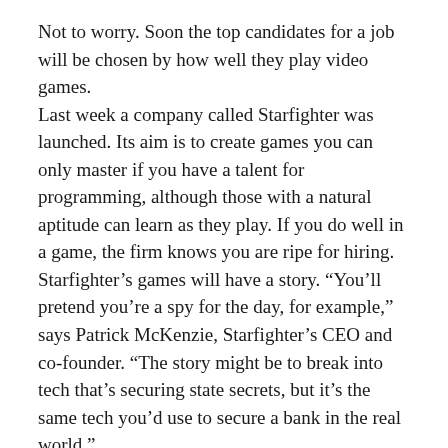Not to worry. Soon the top candidates for a job will be chosen by how well they play video games. Last week a company called Starfighter was launched. Its aim is to create games you can only master if you have a talent for programming, although those with a natural aptitude can learn as they play. If you do well in a game, the firm knows you are ripe for hiring. Starfighter's games will have a story. “You'll pretend you’re a spy for the day, for example,” says Patrick McKenzie, Starfighter’s CEO and co-founder. “The story might be to break into tech that’s securing state secrets, but it’s the same tech you’d use to secure a bank in the real world.” The post announcing Starfighter is unequivocal: “Becoming a top Starfighter player is a direct path to receiving lucrative job offers from the best tech companies in the world, because you’ll have proven beyond a shadow of a doubt that you can do the work these companies need done.”